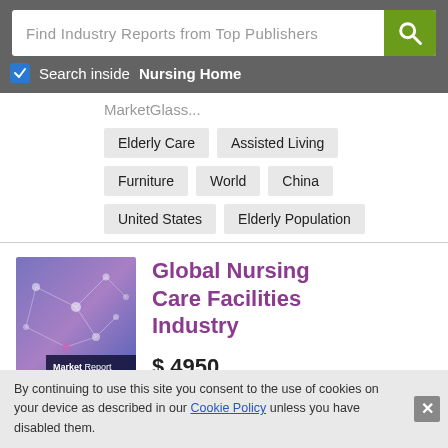Find Industry Reports from Top Publishers
Search inside Nursing Home
MarketGlass...
Elderly Care
Assisted Living
Furniture
World
China
United States
Elderly Population
[Figure (illustration): Market Report book cover with purple/blue network graph background and 'Market Report' badge]
Global Nursing Care Facilities Industry
$ 4950
By continuing to use this site you consent to the use of cookies on your device as described in our Cookie Policy unless you have disabled them.